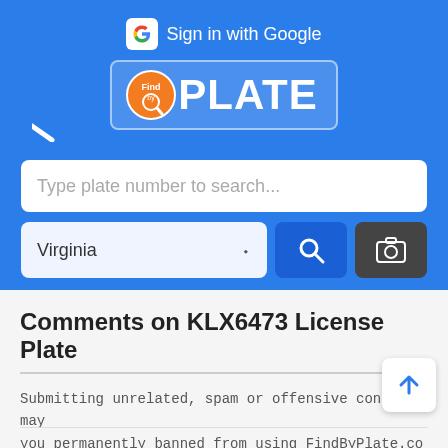[Figure (screenshot): FindByPlate website header with blue background showing Sign in with Google button, FindByPlate logo, search input, Virginia state selector, search button, and camera button]
Comments on KLX6473 License Plate
Submitting unrelated, spam or offensive content may you permanently banned from using FindByPlate.co